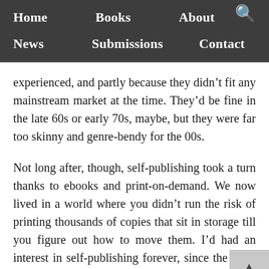Home  Books  About  News  Submissions  Contact
experienced, and partly because they didn't fit any mainstream market at the time. They'd be fine in the late 60s or early 70s, maybe, but they were far too skinny and genre-bendy for the 00s.
Not long after, though, self-publishing took a turn thanks to ebooks and print-on-demand. We now lived in a world where you didn't run the risk of printing thousands of copies that sit in storage till you figure out how to move them. I'd had an interest in self-publishing forever, since the punk zines of the 80s, really. But two mentors inspired